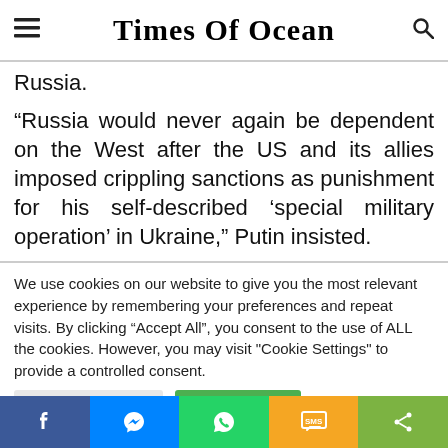Times Of Ocean
Russia.
“Russia would never again be dependent on the West after the US and its allies imposed crippling sanctions as punishment for his self-described ‘special military operation’ in Ukraine,” Putin insisted.
We use cookies on our website to give you the most relevant experience by remembering your preferences and repeat visits. By clicking “Accept All”, you consent to the use of ALL the cookies. However, you may visit "Cookie Settings" to provide a controlled consent.
Cookie Settings | Accept All